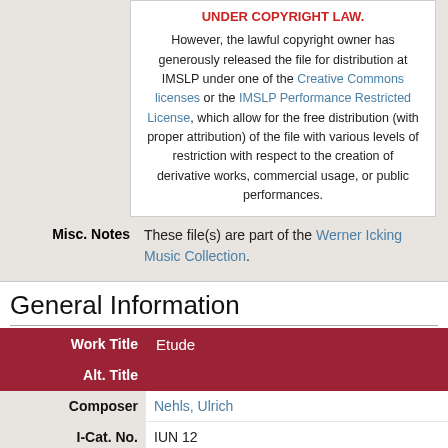UNDER COPYRIGHT LAW. However, the lawful copyright owner has generously released the file for distribution at IMSLP under one of the Creative Commons licenses or the IMSLP Performance Restricted License, which allow for the free distribution (with proper attribution) of the file with various levels of restriction with respect to the creation of derivative works, commercial usage, or public performances.
These file(s) are part of the Werner Icking Music Collection.
General Information
| Work Title | Etude |
| --- | --- |
| Alt. Title |  |
| Composer | Nehls, Ulrich |
| I-Cat. No. | IUN 12 |
| Key | E minor |
| Mov'ts/Sec's | 1 |
| Y/D of Comp. | 2003 (21 July) |